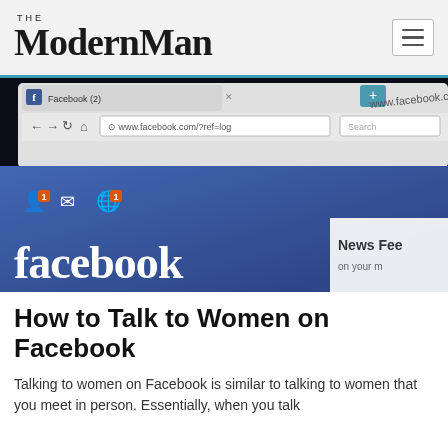The ModernMan
[Figure (screenshot): Screenshot of Facebook website open in a web browser, showing the Facebook logo, navigation bar with notification badges reading '1', address bar showing www.facebook.com/?ref=log, and News Feed label.]
How to Talk to Women on Facebook
Talking to women on Facebook is similar to talking to women that you meet in person. Essentially, when you talk